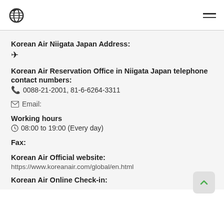[Figure (logo): Korean Air globe logo with wings]
Korean Air Niigata Japan Address:
Korean Air Reservation Office in Niigata Japan telephone contact numbers:
0088-21-2001, 81-6-6264-3311
Email:
Working hours
08:00 to 19:00 (Every day)
Fax:
Korean Air Official website:
https://www.koreanair.com/global/en.html
Korean Air Online Check-in: